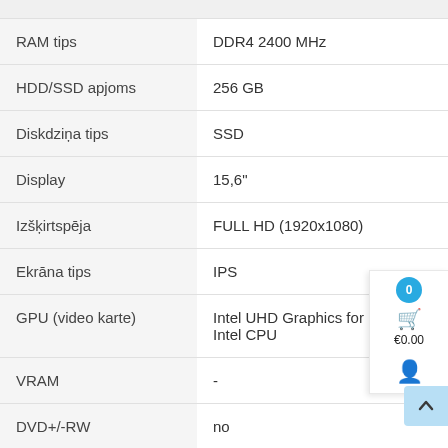| Attribute | Value |
| --- | --- |
| RAM tips | DDR4 2400 MHz |
| HDD/SSD apjoms | 256 GB |
| Diskdziņa tips | SSD |
| Display | 15,6" |
| Izšķirtspēja | FULL HD (1920x1080) |
| Ekrāna tips | IPS |
| GPU (video karte) | Intel UHD Graphics for 10th Gen Intel CPU |
| VRAM | - |
| DVD+/-RW | no |
| Bluetooth | yes |